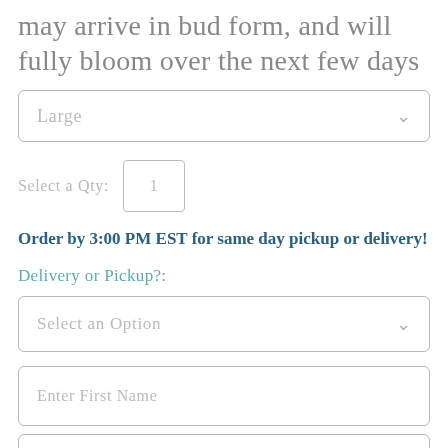may arrive in bud form, and will fully bloom over the next few days
Large
Select a Qty: 1
Order by 3:00 PM EST for same day pickup or delivery!
Delivery or Pickup?:
Select an Option
Enter First Name
Enter Last Name